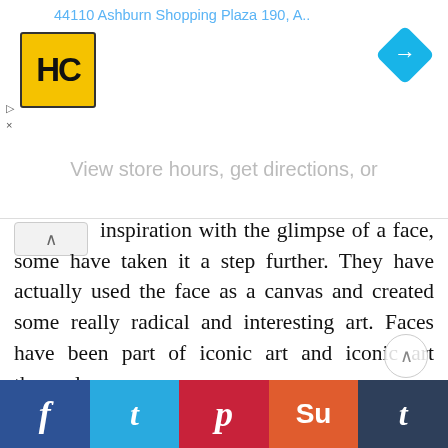[Figure (screenshot): Advertisement banner showing HC logo (yellow square with HC text), address '44110 Ashburn Shopping Plaza 190, A...' in blue, navigation arrow icon (blue diamond with right arrow), and 'View store hours, get directions, or' text in gray. Has close/X button on left side.]
inspiration with the glimpse of a face, some have taken it a step further. They have actually used the face as a canvas and created some really radical and interesting art. Faces have been part of iconic art and iconic art themselves.
[Figure (photo): Sepia-toned photograph showing top of a person's head with hair, with striped fabric/cushion on the right side. Has Pinterest and Tumblr social share icons overlaid in top left corner.]
[Figure (infographic): Bottom social share bar with five buttons: Facebook (dark blue, f icon), Twitter (light blue, bird/t icon), Pinterest (red, p icon), StumbleUpon (orange, su icon), Tumblr (dark blue, t icon)]